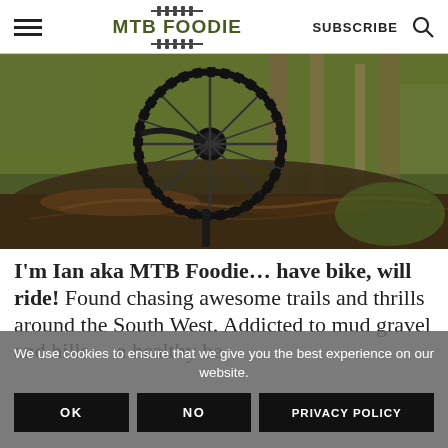MTB FOODIE — SUBSCRIBE
[Figure (photo): Mountain bike wheel navigating over muddy roots and logs in a lush green forest]
I'm Ian aka MTB Foodie… have bike, will ride! Found chasing awesome trails and thrills around the South West. Addicted to mud gravel and hills… a healthy ba[lance]
We use cookies to ensure that we give you the best experience on our website.
OK   NO   PRIVACY POLICY